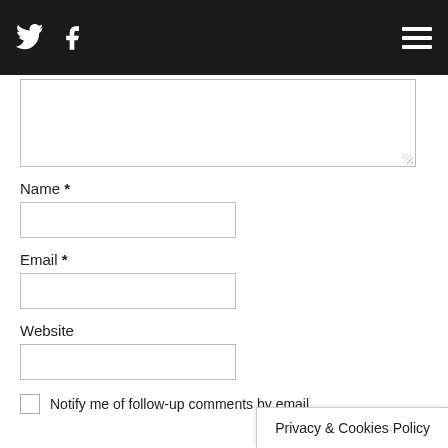Navigation bar with Twitter icon, Facebook icon, and hamburger menu
[Figure (screenshot): Textarea input box (empty comment field)]
Name *
[Figure (screenshot): Name text input field (empty)]
Email *
[Figure (screenshot): Email text input field (empty)]
Website
[Figure (screenshot): Website text input field (empty)]
Notify me of follow-up comments by email.
Privacy & Cookies Policy